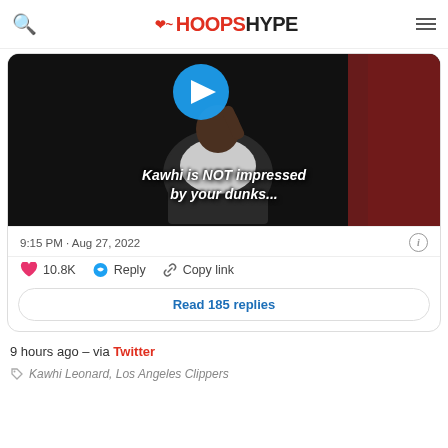HOOPSHYPE
[Figure (screenshot): Video thumbnail showing Kawhi Leonard seated, with text overlay 'Kawhi is NOT impressed by your dunks...' and a blue play button icon at the top center]
9:15 PM · Aug 27, 2022
10.8K  Reply  Copy link
Read 185 replies
9 hours ago – via Twitter
Kawhi Leonard, Los Angeles Clippers